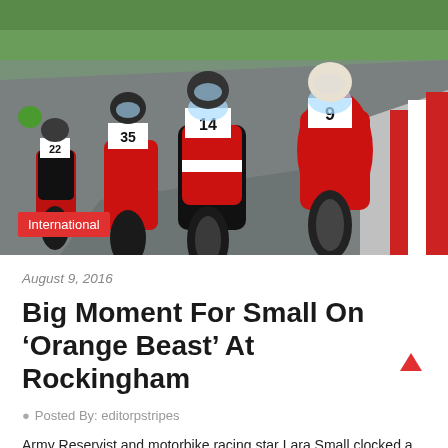[Figure (photo): Motorcycle road racing scene with multiple riders on red/black bikes numbered 9, 14, 35, 22, racing on a track with red and white curbs and green grass in background. A red badge overlay reads 'International'.]
August 9, 2016
Big Moment For Small On ‘Orange Beast’ At Rockingham
Posted By: editorpstripes
Army Reservist and motorbike racing star Lara Small clocked a personal best for a single lap when she made a guest appearance at